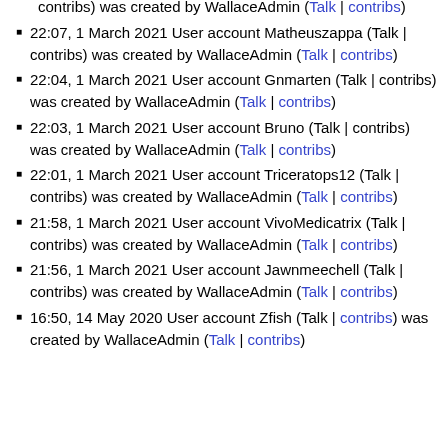22:07, 1 March 2021 User account Matheuszappa (Talk | contribs) was created by WallaceAdmin (Talk | contribs)
22:04, 1 March 2021 User account Gnmarten (Talk | contribs) was created by WallaceAdmin (Talk | contribs)
22:03, 1 March 2021 User account Bruno (Talk | contribs) was created by WallaceAdmin (Talk | contribs)
22:01, 1 March 2021 User account Triceratops12 (Talk | contribs) was created by WallaceAdmin (Talk | contribs)
21:58, 1 March 2021 User account VivoMedicatrix (Talk | contribs) was created by WallaceAdmin (Talk | contribs)
21:56, 1 March 2021 User account Jawnmeechell (Talk | contribs) was created by WallaceAdmin (Talk | contribs)
16:50, 14 May 2020 User account Zfish (Talk | contribs) was created by WallaceAdmin (Talk | contribs)